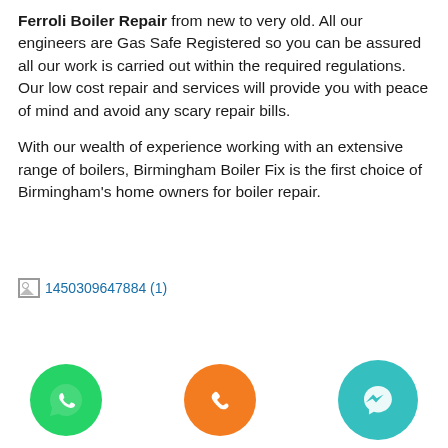Ferroli Boiler Repair from new to very old. All our engineers are Gas Safe Registered so you can be assured all our work is carried out within the required regulations. Our low cost repair and services will provide you with peace of mind and avoid any scary repair bills.
With our wealth of experience working with an extensive range of boilers, Birmingham Boiler Fix is the first choice of Birmingham's home owners for boiler repair.
[Figure (other): Broken image placeholder showing filename 1450309647884 (1)]
[Figure (illustration): Three circular icon buttons at bottom: green WhatsApp phone icon, orange phone/call icon, and teal Facebook Messenger icon]